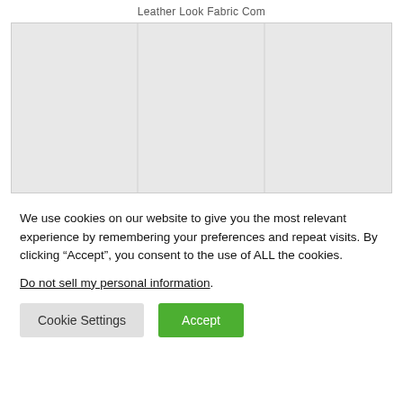Leather Look Fabric Com
[Figure (photo): Gray placeholder image area divided into three columns by faint vertical lines, representing a product photo gallery on a fabric website.]
We use cookies on our website to give you the most relevant experience by remembering your preferences and repeat visits. By clicking “Accept”, you consent to the use of ALL the cookies.
Do not sell my personal information.
Cookie Settings  Accept